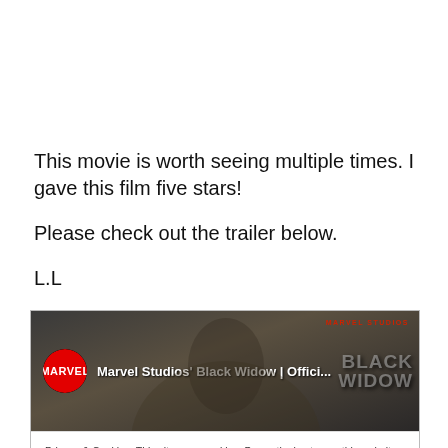This movie is worth seeing multiple times. I gave this film five stars!

Please check out the trailer below.

L.L
[Figure (screenshot): Embedded YouTube video thumbnail for 'Marvel Studios' Black Widow | Offici...' with Marvel logo, Black Widow title overlay in grey, and MARVEL STUDIOS watermark in red. Below the thumbnail is a cookie consent notice: 'Privacy & Cookies: This site uses cookies. By continuing to use this website, you agree to their use. To find out more, including how to control cookies, see here: Cookie Policy' with a 'Close and accept' button.]